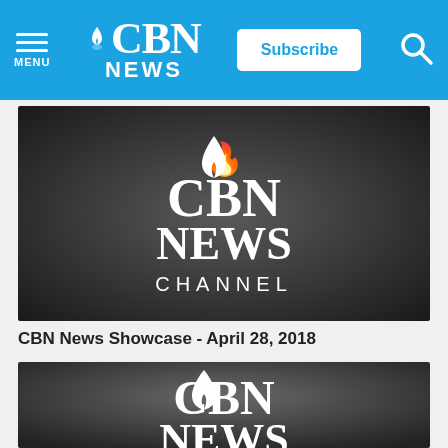CBN News
[Figure (screenshot): CBN News Channel logo on dark gradient background — first video thumbnail]
CBN News Showcase - April 28, 2018
[Figure (screenshot): CBN News logo on dark gradient background — second video thumbnail (partially visible)]